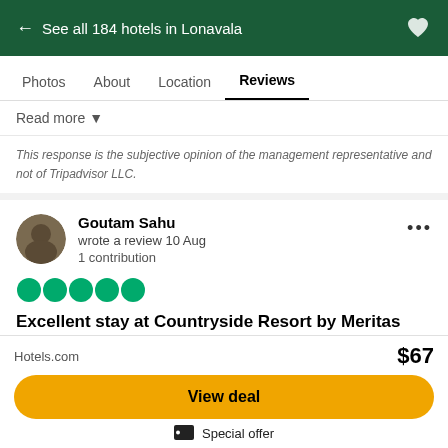← See all 184 hotels in Lonavala
Photos   About   Location   Reviews
Read more ▼
This response is the subjective opinion of the management representative and not of Tripadvisor LLC.
Goutam Sahu
wrote a review 10 Aug
1 contribution
[Figure (other): 5 green filled circles representing a 5-star rating]
Excellent stay at Countryside Resort by Meritas
"One of the beautiful staycation with very generous
Hotels.com   $67
View deal
Special offer